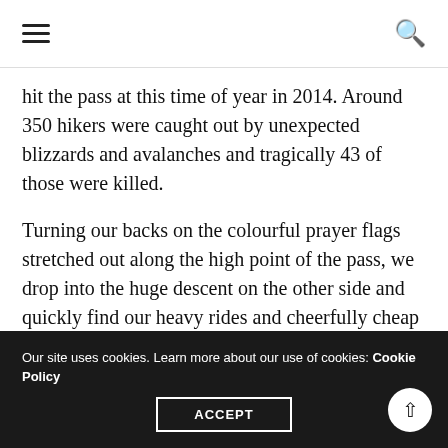☰  🔍
hit the pass at this time of year in 2014. Around 350 hikers were caught out by unexpected blizzards and avalanches and tragically 43 of those were killed.
Turning our backs on the colourful prayer flags stretched out along the high point of the pass, we drop into the huge descent on the other side and quickly find our heavy rides and cheerfully cheap disc brakes at their very limits on the steep loose gravel with some obviously big consequences to any mistakes. The land drops away below us in what seems a bottomless descent.
Our site uses cookies. Learn more about our use of cookies: Cookie Policy
ACCEPT